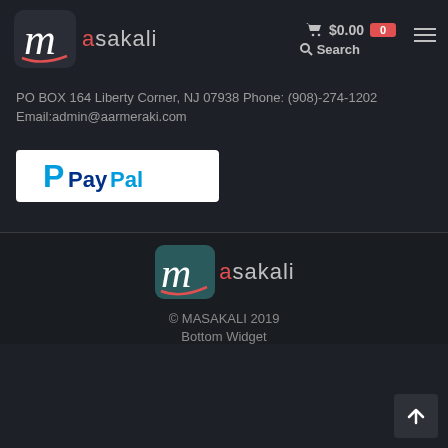[Figure (logo): Masakali logo with stylized M on dark rounded square background and 'masakali' text]
$0.00  0
Search
PO BOX 164 Liberty Corner, NJ 07938 Phone: (908)-274-1202
Email:admin@aarmeraki.com
[Figure (logo): PayPal logo on white background]
[Figure (logo): Masakali footer logo with stylized M on dark teal rounded square and 'masakali' text]
© MASAKALI 2019
Bottom Widget